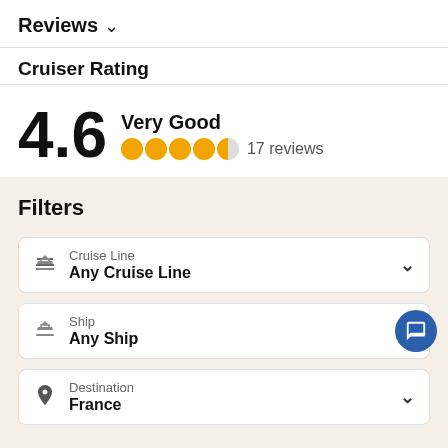Reviews ∨
Cruiser Rating
4.6  Very Good  ●●●●◐  17 reviews
Filters
Cruise Line — Any Cruise Line
Ship — Any Ship
Destination — France